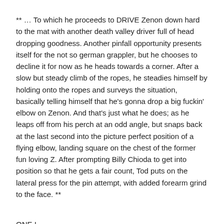** … To which he proceeds to DRIVE Zenon down hard to the mat with another death valley driver full of head dropping goodness. Another pinfall opportunity presents itself for the not so german grappler, but he chooses to decline it for now as he heads towards a corner. After a slow but steady climb of the ropes, he steadies himself by holding onto the ropes and surveys the situation, basically telling himself that he's gonna drop a big fuckin' elbow on Zenon. And that's just what he does; as he leaps off from his perch at an odd angle, but snaps back at the last second into the picture perfect position of a flying elbow, landing square on the chest of the former fun loving Z. After prompting Billy Chioda to get into position so that he gets a fair count, Tod puts on the lateral press for the pin attempt, with added forearm grind to the face. **
ONE !
TWO !